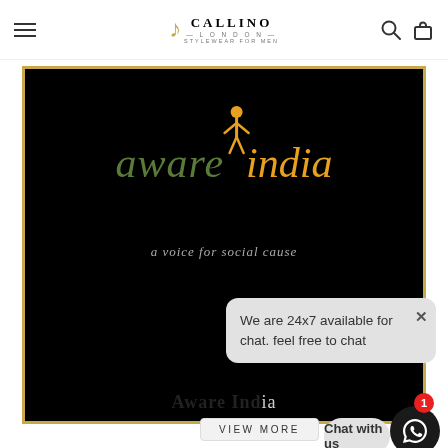Callino London — Stylewear for Men
[Figure (logo): Aware India logo on black background with gold border. Text reads 'aware India' in olive/orange italic font with a human figure icon, and tagline 'a voice for social cause']
Aware India
We are 24x7 available for chat. feel free to chat
Chat with us
VIEW MORE